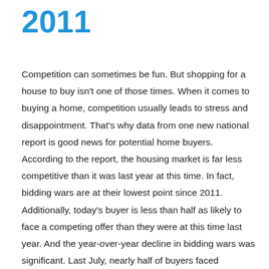2011
Competition can sometimes be fun. But shopping for a house to buy isn't one of those times. When it comes to buying a home, competition usually leads to stress and disappointment. That's why data from one new national report is good news for potential home buyers. According to the report, the housing market is far less competitive than it was last year at this time. In fact, bidding wars are at their lowest point since 2011. Additionally, today's buyer is less than half as likely to face a competing offer than they were at this time last year. And the year-over-year decline in bidding wars was significant. Last July, nearly half of buyers faced competition when making an offer. This July, the share of buyers facing competition was just 11.2 percent. That's encouraging, of course. However, the amount of competition you face will depend on the market you're shopping in. Hot markets like San Francisco, San Diego, and Boston still have a fair amount of competition, although they're still far less competitive than they were last summer. More here